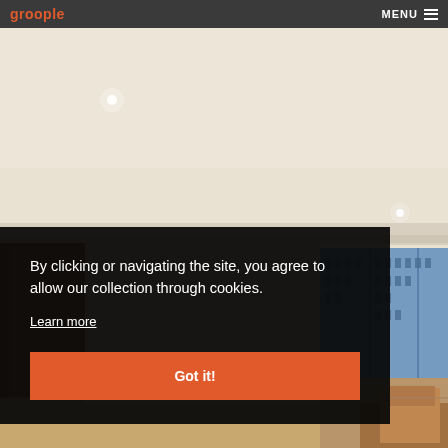groople   MENU
[Figure (photo): Hotel room interior photograph showing white ceiling with recessed lighting, crown molding, brown curtains, floor-to-ceiling windows with city building view, and partial view of leather seating]
By clicking or navigating the site, you agree to allow our collection through cookies.
Learn more
Got it!